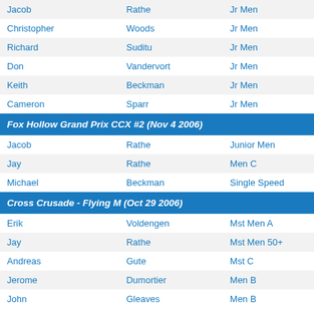| First | Last | Category |
| --- | --- | --- |
| Jacob | Rathe | Jr Men |
| Christopher | Woods | Jr Men |
| Richard | Suditu | Jr Men |
| Don | Vandervort | Jr Men |
| Keith | Beckman | Jr Men |
| Cameron | Sparr | Jr Men |
Fox Hollow Grand Prix CCX #2 (Nov 4 2006)
| First | Last | Category |
| --- | --- | --- |
| Jacob | Rathe | Junior Men |
| Jay | Rathe | Men C |
| Michael | Beckman | Single Speed |
Cross Crusade - Flying M (Oct 29 2006)
| First | Last | Category |
| --- | --- | --- |
| Erik | Voldengen | Mst Men A |
| Jay | Rathe | Mst Men 50+ |
| Andreas | Gute | Mst C |
| Jerome | Dumortier | Men B |
| John | Gleaves | Men B |